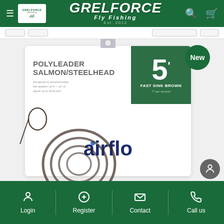[Figure (screenshot): Grelforce Fly Fishing website header with green background, hamburger menu, logo, brand name 'GRELFORCE Fly Fishing Est. 2012', search icon, and cart icon]
[Figure (photo): Airflo Polyleader Salmon/Steelhead 5ft Fast Sink Brown product packaging with coiled dark brown fly fishing leader line. Package shows green label with '5 ft' in large text, 'FAST SINK BROWN 7'' per second', and 'airflo' brand logo at bottom. A 'New' badge appears in top right.]
[Figure (screenshot): Website footer with green background showing Login, Register, Contact, and Call us icons and labels]